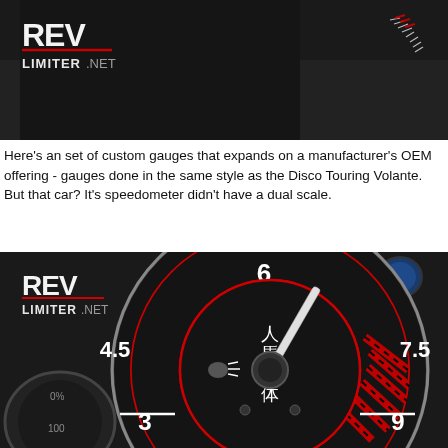[Figure (photo): Close-up photo of a car dashboard area with a dark background, showing a revlimiter.net logo/watermark in the top-left corner with tachometer markings.]
Here's an set of custom gauges that expands on a manufacturer's OEM offering - gauges done in the same style as the Disco Touring Volante. But that car? Its speedometer didn't have a dual scale.
[Figure (photo): Close-up photo of a custom tachometer gauge with black face, red accent ring, white numerals (3, 4.5, 6, 7.5, 9), red/black striped redline zone, Japanese kanji characters (人馬一体) in the center, a chrome needle, and revlimiter.net logo watermark in top-left.]